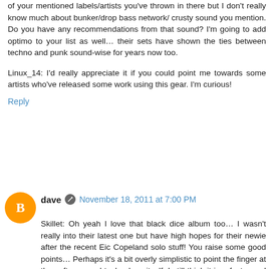of your mentioned labels/artists you've thrown in there but I don't really know much about bunker/drop bass network/crusty sound you mention. Do you have any recommendations from that sound? I'm going to add optimo to your list as well… their sets have shown the ties between techno and punk sound-wise for years now too.

Linux_14: I'd really appreciate it if you could point me towards some artists who've released some work using this gear. I'm curious!
Reply
dave  November 18, 2011 at 7:00 PM
Skillet: Oh yeah I love that black dice album too… I wasn't really into their latest one but have high hopes for their newie after the recent Eic Copeland solo stuff! You raise some good points… Perhaps it's a bit overly simplistic to point the finger at the software and technology itself. I still think it is a factor and there does seem to be some correlation between the inventiveness of the music and the